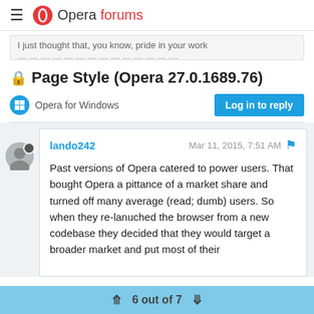Opera forums
I just thought that, you know, pride in your work...
Page Style (Opera 27.0.1689.76)
Opera for Windows
Log in to reply
lando242   Mar 11, 2015, 7:51 AM
Past versions of Opera catered to power users. That bought Opera a pittance of a market share and turned off many average (read; dumb) users. So when they re-lanuched the browser from a new codebase they decided that they would target a broader market and put most of their
6 out of 7